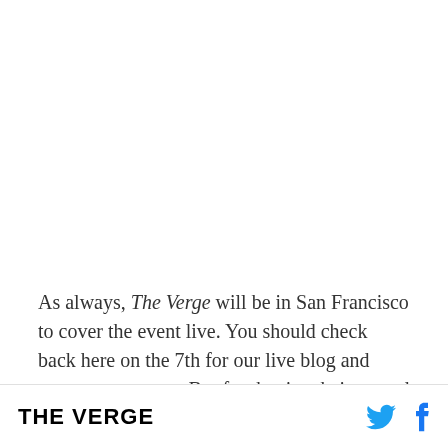As always, The Verge will be in San Francisco to cover the event live. You should check back here on the 7th for our live blog and nonstop coverage. But for the time being, read on below for all the nitty
THE VERGE